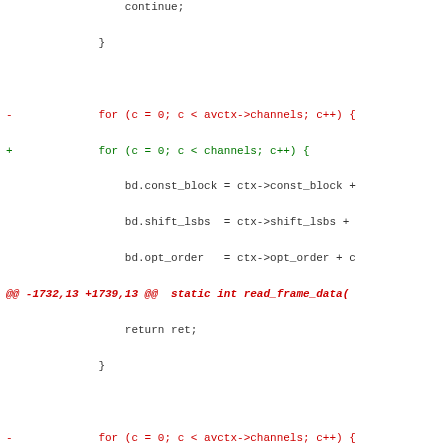[Figure (screenshot): A unified diff/patch view of C source code showing changes to loop conditions replacing avctx->channels with channels, with hunk headers and context lines.]